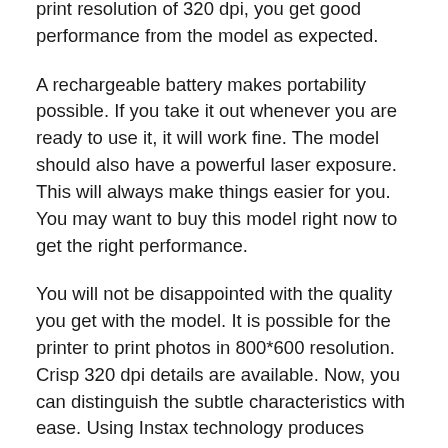print resolution of 320 dpi, you get good performance from the model as expected.
A rechargeable battery makes portability possible. If you take it out whenever you are ready to use it, it will work fine. The model should also have a powerful laser exposure. This will always make things easier for you. You may want to buy this model right now to get the right performance.
You will not be disappointed with the quality you get with the model. It is possible for the printer to print photos in 800*600 resolution. Crisp 320 dpi details are available. Now, you can distinguish the subtle characteristics with ease. Using Instax technology produces sharper pictures with less deterioration.
Other important features include the highly portable design and the high-luminance LED. In order to ensure that the model delivers on some good performance at all times,